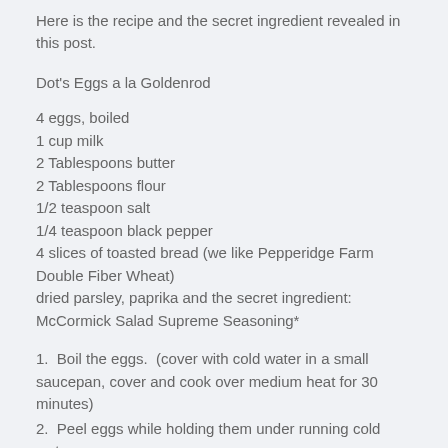Here is the recipe and the secret ingredient revealed in this post.
Dot's Eggs a la Goldenrod
4 eggs, boiled
1 cup milk
2 Tablespoons butter
2 Tablespoons flour
1/2 teaspoon salt
1/4 teaspoon black pepper
4 slices of toasted bread (we like Pepperidge Farm Double Fiber Wheat)
dried parsley, paprika and the secret ingredient:  McCormick Salad Supreme Seasoning*
1.  Boil the eggs.  (cover with cold water in a small saucepan, cover and cook over medium heat for 30 minutes)
2.  Peel eggs while holding them under running cold water.